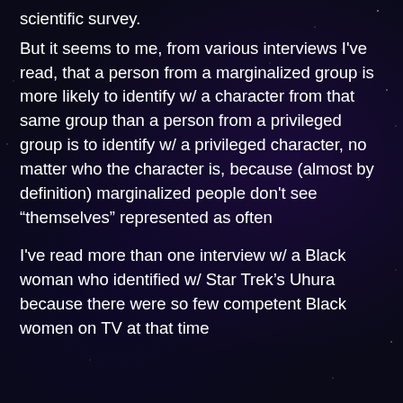scientific survey.
But it seems to me, from various interviews I've read, that a person from a marginalized group is more likely to identify w/ a character from that same group than a person from a privileged group is to identify w/ a privileged character, no matter who the character is, because (almost by definition) marginalized people don't see “themselves” represented as often
I've read more than one interview w/ a Black woman who identified w/ Star Trek’s Uhura because there were so few competent Black women on TV at that time